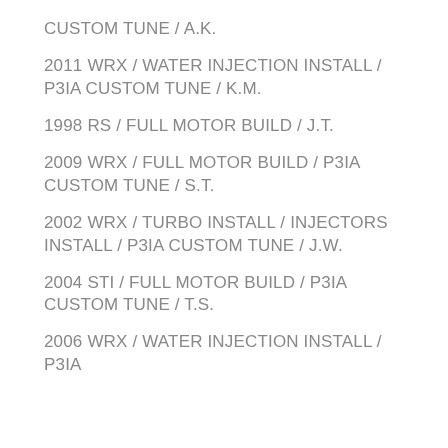CUSTOM TUNE / A.K.
2011 WRX / WATER INJECTION INSTALL / P3IA CUSTOM TUNE / K.M.
1998 RS / FULL MOTOR BUILD / J.T.
2009 WRX / FULL MOTOR BUILD / P3IA CUSTOM TUNE / S.T.
2002 WRX / TURBO INSTALL / INJECTORS INSTALL / P3IA CUSTOM TUNE / J.W.
2004 STI / FULL MOTOR BUILD / P3IA CUSTOM TUNE / T.S.
2006 WRX / WATER INJECTION INSTALL / P3IA